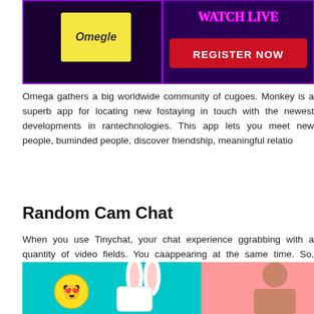[Figure (screenshot): Banner image with purple neon background, a yellow sticky note with 'Omegle' text, and a red 'REGISTER NOW' button]
Omega gathers a big worldwide community of cu... goes. Monkey is a superb app for locating new fo... staying in touch with the newest developments in ran... technologies. This app lets you meet new people, bu... minded people, discover friendship, meaningful relatio...
Random Cam Chat
When you use Tinychat, your chat experience g... grabbing with a quantity of video fields. You ca... appearing at the same time. So, regardless of the ow... people, you shall be able to interact with everybo... manner. Now, there are individuals who use Omegl... how this site could possibly be any different. The onl... of course that you'll solely get the complete exper... together with iPhones and Macs. Android and Windo... calls from a web browser, but they cannot actually hos...
[Figure (screenshot): Colorful image with teal/cyan background showing emoji faces and bunny ears, and a person on pink background on the right]